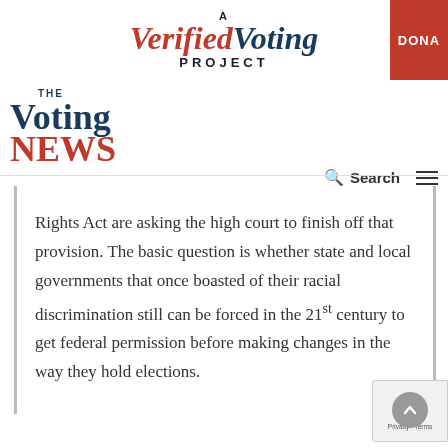[Figure (logo): A Verified Voting Project logo with red italic 'Verified' and dark blue italic 'Voting' text, 'PROJECT' in dark letters below, and a red DONATE button on the right]
[Figure (logo): The Voting News logo: 'THE' small text above large dark blue 'Voting' and red 'NEWS', with Search icon and hamburger menu on the right]
Rights Act are asking the high court to finish off that provision. The basic question is whether state and local governments that once boasted of their racial discrimination still can be forced in the 21st century to get federal permission before making changes in the way they hold elections.